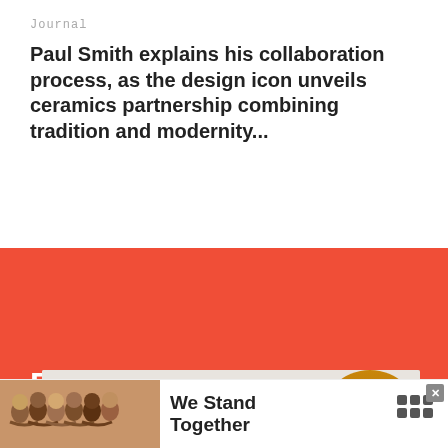Journal
Paul Smith explains his collaboration process, as the design icon unveils ceramics partnership combining tradition and modernity...
Related Stories
[Figure (photo): A colorful book titled 'Wild And...' with floral illustrations on a marble surface, with a yellow-orange chair in the background]
[Figure (photo): Advertisement banner showing a group of people with arms around each other, with text 'We Stand Together' and a logo on white background]